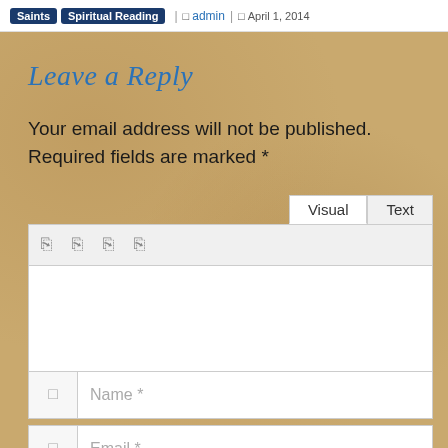Saints | Spiritual Reading | admin | April 1, 2014
Leave a Reply
Your email address will not be published. Required fields are marked *
[Figure (screenshot): WordPress comment editor with Visual and Text tabs, toolbar icons, text area, and status bar]
[Figure (screenshot): Name input field with icon placeholder]
[Figure (screenshot): Email input field with icon placeholder]